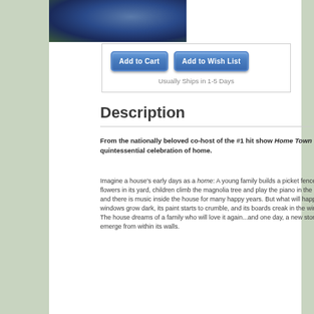[Figure (illustration): Book cover illustration showing a colorful nighttime scene with a house, moon, and decorative elements in blue and green tones]
Add to Cart  Add to Wish List
Usually Ships in 1-5 Days
Description
From the nationally beloved co-host of the #1 hit show Home Town comes the quintessential celebration of home.
Imagine a house's early days as a home: A young family builds a picket fence and plants flowers in its yard, children climb the magnolia tree and play the piano in the living room, and there is music inside the house for many happy years. But what will happen when its windows grow dark, its paint starts to crumble, and its boards creak in the winter wind? The house dreams of a family who will love it again...and one day, a new story will emerge from within its walls.